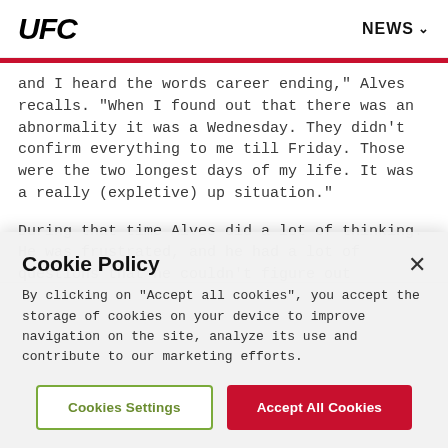UFC | NEWS
and I heard the words career ending," Alves recalls. "When I found out that there was an abnormality it was a Wednesday. They didn't confirm everything to me till Friday. Those were the two longest days of my life. It was a really (expletive) up situation."
During that time Alves did a lot of thinking. He was frustrated, and he had a lot of questions that he couldn't figure out
Cookie Policy
By clicking on "Accept all cookies", you accept the storage of cookies on your device to improve navigation on the site, analyze its use and contribute to our marketing efforts.
Cookies Settings | Accept All Cookies